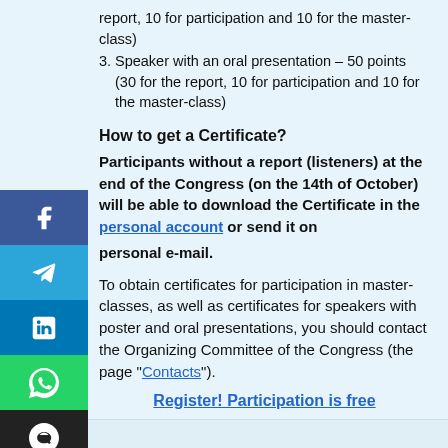report, 10 for participation and 10 for the master-class)
3. Speaker with an oral presentation – 50 points (30 for the report, 10 for participation and 10 for the master-class)
How to get a Certificate?
Participants without a report (listeners) at the end of the Congress (on the 14th of October) will be able to download the Certificate in the personal account or send it on personal e-mail.
To obtain certificates for participation in master-classes, as well as certificates for speakers with poster and oral presentations, you should contact the Organizing Committee of the Congress (the page "Contacts").
Register! Participation is free
For all questions call the hotline: 0800400405 (calls from fixed and mobile phones within Ukraine are free).